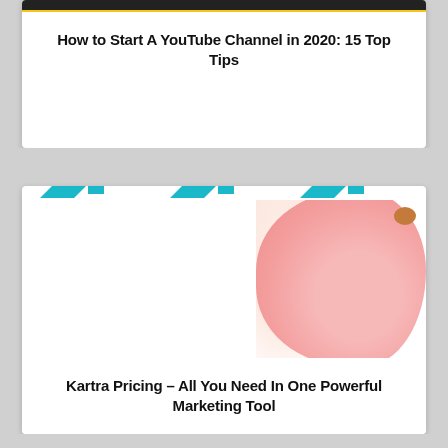[Figure (screenshot): Top card showing dark header image strip and article title 'How to Start A YouTube Channel in 2020: 15 Top Tips']
How to Start A YouTube Channel in 2020: 15 Top Tips
[Figure (screenshot): Bottom card with teal chevron ribbon decoration at top, white content area with partial pink piggy bank image on right side, and article title below]
Kartra Pricing – All You Need In One Powerful Marketing Tool